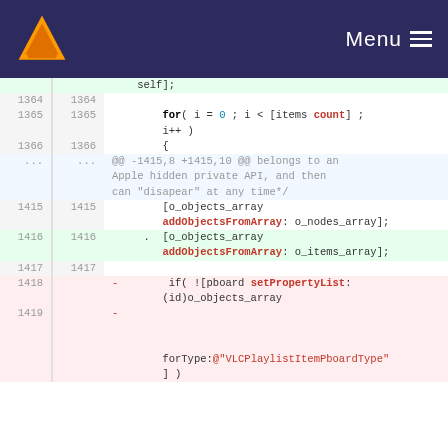[Figure (screenshot): VLC media player website navigation bar with orange cone logo and Menu button]
Code diff view showing lines 1364-1419 of a source file with added and removed lines involving o_objects_array addObjectsFromArray and setPropertyList calls